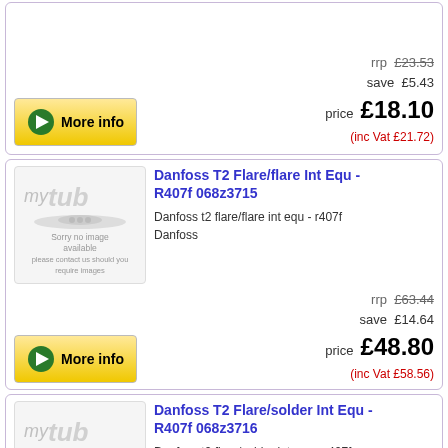[Figure (other): Partial product card top with More info button and pricing: rrp £23.53, save £5.43, price £18.10, (inc Vat £21.72)]
Danfoss T2 Flare/flare Int Equ - R407f 068z3715
Danfoss t2 flare/flare int equ - r407f
Danfoss
rrp £63.44
save £14.64
price £48.80
(inc Vat £58.56)
Danfoss T2 Flare/solder Int Equ - R407f 068z3716
Danfoss t2 flare/solder int equ - r407f
Danfoss
rrp £63.44
save £14.64